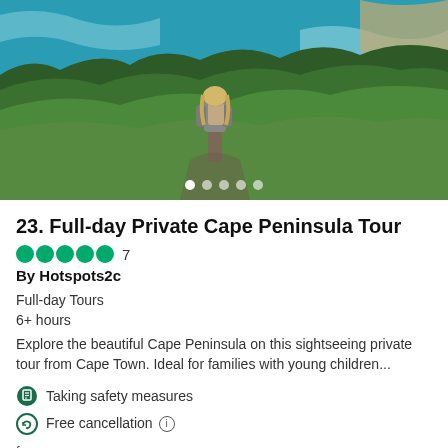[Figure (photo): Aerial landscape photo of Cape Peninsula: turquoise ocean water with waves on the right, dense green coastal shrubland in the foreground, and a blonde woman with a backpack standing on a cliff overlook. Carousel navigation dots visible at the bottom center.]
23. Full-day Private Cape Peninsula Tour
7 reviews (5-star rating) By Hotspots2c
Full-day Tours
6+ hours
Explore the beautiful Cape Peninsula on this sightseeing private tour from Cape Town. Ideal for families with young children...
Taking safety measures
Free cancellation
from R 3 500,00 per adult